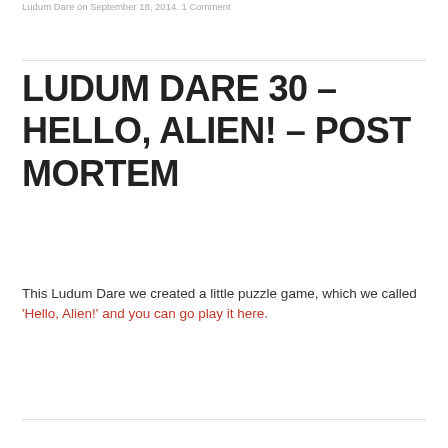Ludum Dare on September 18, 2014. 1 Comment
LUDUM DARE 30 – HELLO, ALIEN! – POST MORTEM
This Ludum Dare we created a little puzzle game, which we called 'Hello, Alien!' and you can go play it here.